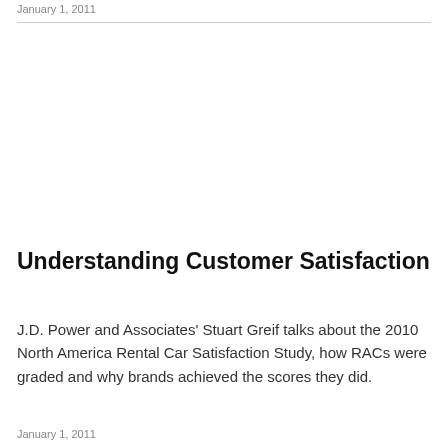January 1, 2011
Understanding Customer Satisfaction
J.D. Power and Associates' Stuart Greif talks about the 2010 North America Rental Car Satisfaction Study, how RACs were graded and why brands achieved the scores they did.
January 1, 2011